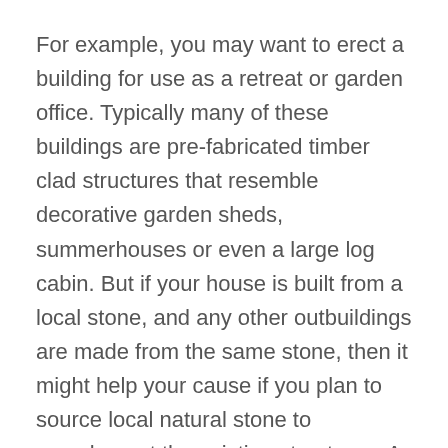For example, you may want to erect a building for use as a retreat or garden office. Typically many of these buildings are pre-fabricated timber clad structures that resemble decorative garden sheds, summerhouses or even a large log cabin. But if your house is built from a local stone, and any other outbuildings are made from the same stone, then it might help your cause if you plan to source local natural stone to complement the existing structures. A planned overly large modern log cabin for a garden office may be considered as completely out of place, and won't be allowed.
So the best advice is to have a good idea of what changes you want to make, and try your best to...